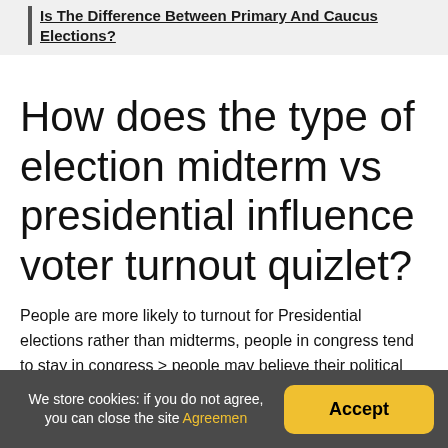Is The Difference Between Primary And Caucus Elections?
How does the type of election midterm vs presidential influence voter turnout quizlet?
People are more likely to turnout for Presidential elections rather than midterms, people in congress tend to stay in congress > people may believe their political efficacy is lower in those elections so they do not turn out as much, on
We store cookies: if you do not agree, you can close the site Agreemen